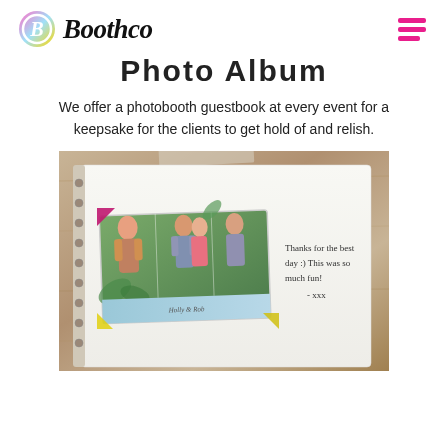Boothco
Photo Album
We offer a photobooth guestbook at every event for a keepsake for the clients to get hold of and relish.
[Figure (photo): Open photo album/guestbook on a wooden table. The album page shows a photo strip of wedding guests and a handwritten note reading: Thanks for the best day :) This was so much fun! - xxx. The album features decorative corner pieces and a name label.]